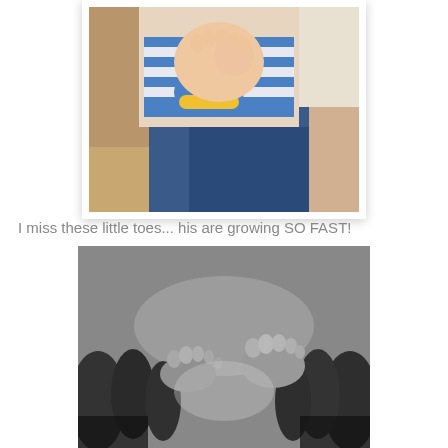[Figure (photo): Color photo of a baby in a blue and white striped outfit with yellow wristband, sitting on a couch, holding its feet up. An adult in a white shirt and jeans is visible behind.]
I miss these little toes... his are growing SO FAST!
[Figure (photo): Black and white close-up photo of multiple sets of small baby toes and feet, with a tiny infant's feet in the center surrounded by adult/larger toes on the edges.]